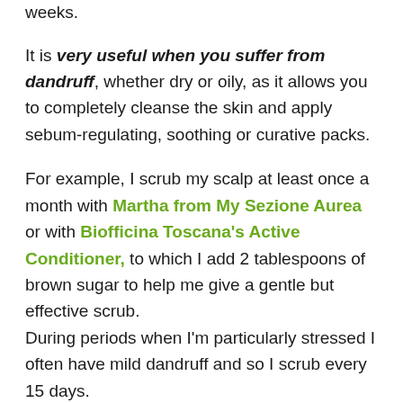weeks.
It is very useful when you suffer from dandruff, whether dry or oily, as it allows you to completely cleanse the skin and apply sebum-regulating, soothing or curative packs.
For example, I scrub my scalp at least once a month with Martha from My Sezione Aurea or with Biofficina Toscana's Active Conditioner, to which I add 2 tablespoons of brown sugar to help me give a gentle but effective scrub. During periods when I'm particularly stressed I often have mild dandruff and so I scrub every 15 days.
Washing.
We're talking about "washing" and not just "shampoo" because we can also wash our scalp using alternative methods.
Alternative hair washes come to our rescue in the summer, for